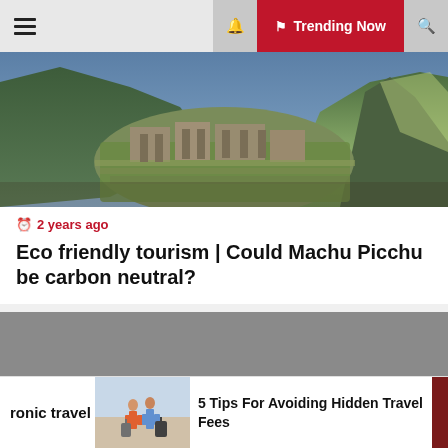☰  🔔  Trending Now  🔍
[Figure (photo): Aerial panoramic view of Machu Picchu ancient Inca citadel set high in the Andes mountains of Peru, with green terraced ruins and dramatic mountain backdrop]
🕐 2 years ago
Eco friendly tourism | Could Machu Picchu be carbon neutral?
[Figure (photo): Grey placeholder image for a second article]
ronic travel
[Figure (photo): Small thumbnail of people with luggage at an airport or travel location]
5 Tips For Avoiding Hidden Travel Fees